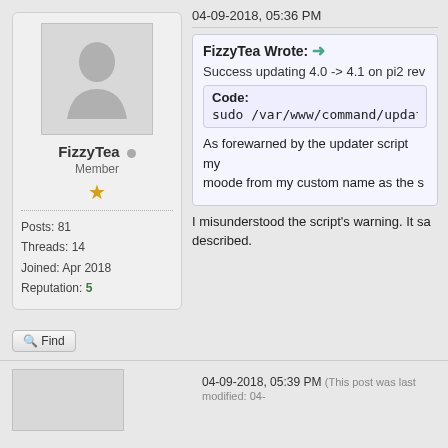04-09-2018, 05:36 PM
[Figure (illustration): Default user avatar silhouette icon in gray box]
FizzyTea
Member
★
Posts: 81
Threads: 14
Joined: Apr 2018
Reputation: 5
FizzyTea Wrote: →
Success updating 4.0 -> 4.1 on pi2 rev
Code:
sudo /var/www/command/update
As forewarned by the updater script my moode from my custom name as the s
I misunderstood the script's warning. It sa described.
Find
04-09-2018, 05:39 PM (This post was last modified: 04-